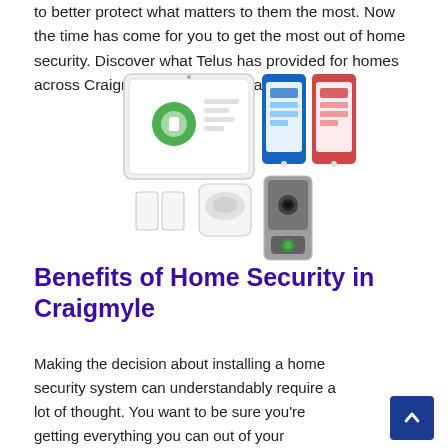to better protect what matters to them the most. Now the time has come for you to get the most out of home security. Discover what Telus has provided for homes across Craigmyle and all of Canada.
[Figure (photo): Telus home security system product photo showing a tablet control panel, two smartphones with app interfaces, door/window sensors, a motion detector, and a smart doorbell camera.]
Benefits of Home Security in Craigmyle
Making the decision about installing a home security system can understandably require a lot of thought. You want to be sure you're getting everything you can out of your investment. Luckily, Telus in Craigmyle can make your decision a bit easier. Find out why: